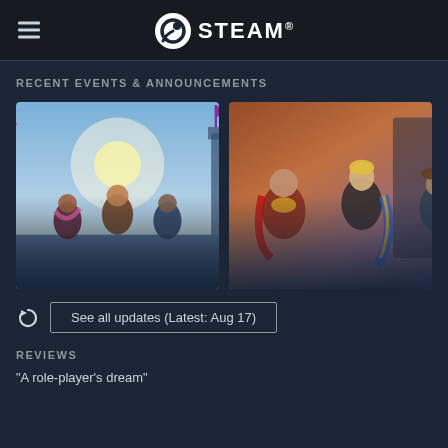STEAM
RECENT EVENTS & ANNOUNCEMENTS
[Figure (screenshot): Game screenshot showing armored characters in a fantasy setting with banners and architecture, for card: [NA/EU] Patch Notes Summary - August 17, Wed. August 17, 2022]
[Figure (screenshot): Game screenshot showing fantasy characters in elaborate costumes, for card: Arena of Solare Regular Season, Wed. August 17, 2022]
See all updates (Latest: Aug 17)
REVIEWS
"A role-player's dream"